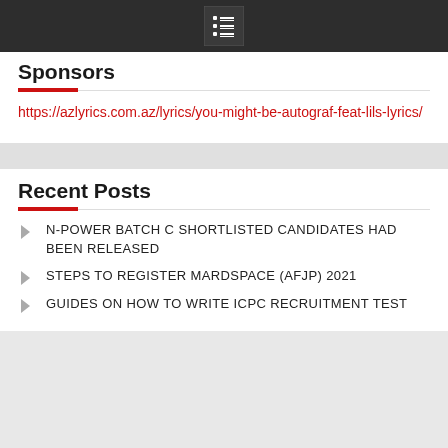[menu icon]
Sponsors
https://azlyrics.com.az/lyrics/you-might-be-autograf-feat-lils-lyrics/
Recent Posts
N-POWER BATCH C SHORTLISTED CANDIDATES HAD BEEN RELEASED
STEPS TO REGISTER MARDSPACE (AFJP) 2021
GUIDES ON HOW TO WRITE ICPC RECRUITMENT TEST